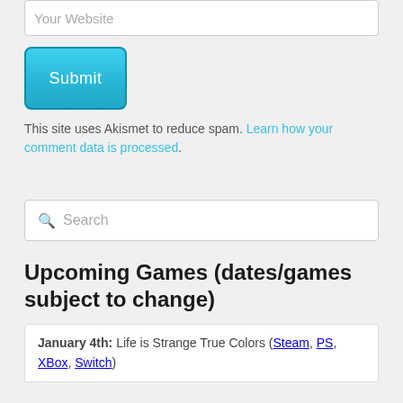Your Website (input placeholder)
Submit (button)
This site uses Akismet to reduce spam. Learn how your comment data is processed.
Search (search box placeholder)
Upcoming Games (dates/games subject to change)
January 4th: Life is Strange True Colors (Steam, PS, XBox, Switch)
January 11th: Life is Strange True Colors (Steam, PS, XBox, Switch)
January 18th: Life is Strange True Colors (skipped)